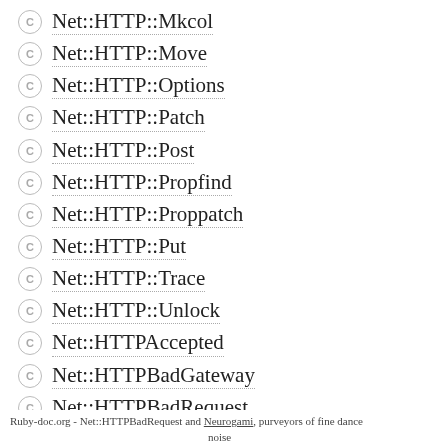Net::HTTP::Mkcol
Net::HTTP::Move
Net::HTTP::Options
Net::HTTP::Patch
Net::HTTP::Post
Net::HTTP::Propfind
Net::HTTP::Proppatch
Net::HTTP::Put
Net::HTTP::Trace
Net::HTTP::Unlock
Net::HTTPAccepted
Net::HTTPBadGateway
Net::HTTPBadRequest
Net::HTTPBadResponse
Ruby-doc.org - Net::HTTPBadRequest and Neurogami, purveyors of fine dance noise